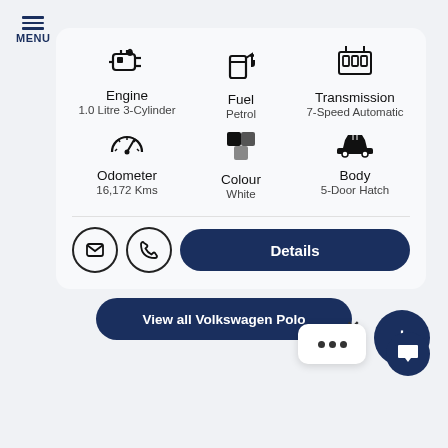[Figure (screenshot): Volkswagen Polo vehicle detail card showing Engine (1.0 Litre 3-Cylinder), Fuel (Petrol), Transmission (7-Speed Automatic), Odometer (16,172 Kms), Colour (White), Body (5-Door Hatch), with email and phone contact buttons and a Details button, plus a View all Volkswagen Polo button and floating action buttons.]